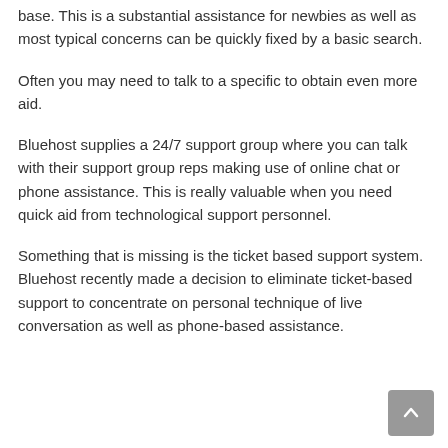base. This is a substantial assistance for newbies as well as most typical concerns can be quickly fixed by a basic search.
Often you may need to talk to a specific to obtain even more aid.
Bluehost supplies a 24/7 support group where you can talk with their support group reps making use of online chat or phone assistance. This is really valuable when you need quick aid from technological support personnel.
Something that is missing is the ticket based support system. Bluehost recently made a decision to eliminate ticket-based support to concentrate on personal technique of live conversation as well as phone-based assistance.